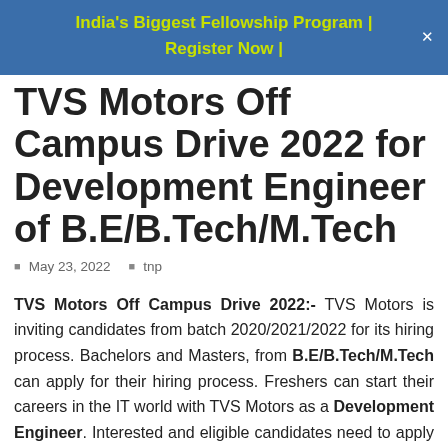India's Biggest Fellowship Program | Register Now |
TVS Motors Off Campus Drive 2022 for Development Engineer of B.E/B.Tech/M.Tech
May 23, 2022   tnp
TVS Motors Off Campus Drive 2022:- TVS Motors is inviting candidates from batch 2020/2021/2022 for its hiring process. Bachelors and Masters, from B.E/B.Tech/M.Tech can apply for their hiring process. Freshers can start their careers in the IT world with TVS Motors as a Development Engineer. Interested and eligible candidates need to apply as soon as possible before the apply